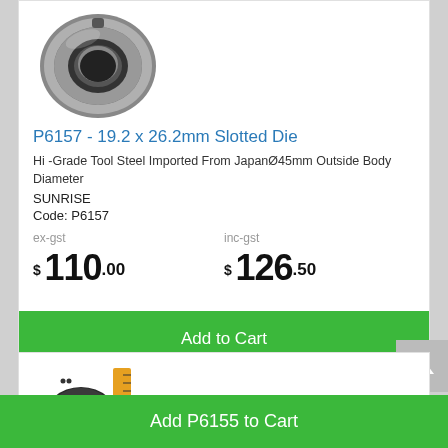[Figure (photo): Slotted die ring, dark metallic ring with hole, top-down view]
P6157 - 19.2 x 26.2mm Slotted Die
Hi-Grade Tool Steel Imported From JapanØ45mm Outside Body Diameter
SUNRISE
Code: P6157
ex-gst $ 110.00   inc-gst $ 126.50
Add to Cart
[Figure (photo): Die reducing bush with measurement ruler, second product]
Add P6155 to Cart